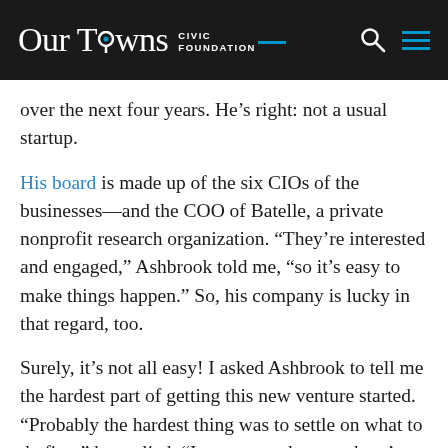Our Towns CIVIC FOUNDATION
over the next four years. He’s right: not a usual startup.
His board is made up of the six CIOs of the businesses—and the COO of Batelle, a private nonprofit research organization. “They’re interested and engaged,” Ashbrook told me, “so it’s easy to make things happen.” So, his company is lucky in that regard, too.
Surely, it’s not all easy! I asked Ashbrook to tell me the hardest part of getting this new venture started. “Probably the hardest thing was to settle on what to do first,” he replied. “I want to make sure there’s a business-driver to everything we do. As we move forward, the